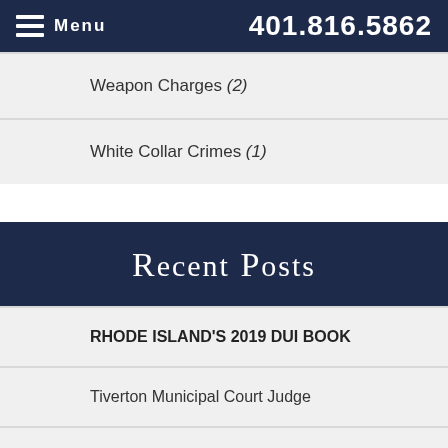Menu  401.816.5862
Weapon Charges (2)
White Collar Crimes (1)
Recent Posts
RHODE ISLAND'S 2019 DUI BOOK
Tiverton Municipal Court Judge
Attorney Robert Humphrey Named to 2017-2018